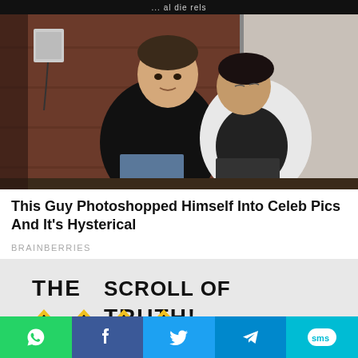... al die rels
[Figure (photo): Two men seated against a wooden wall. One man in a black sweater sitting upright, another man in a white shirt leaning on the first man's shoulder with eyes closed.]
This Guy Photoshopped Himself Into Celeb Pics And It's Hysterical
BRAINBERRIES
[Figure (photo): Comic-style illustration showing text 'THE SCROLL OF TRUTH!' on the left and a speech bubble saying 'NYEHHH' on the right, with a cartoon face partially visible.]
Share buttons: WhatsApp, Facebook, Twitter, Telegram, SMS